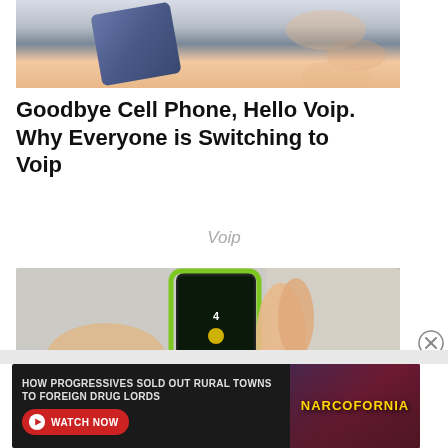[Figure (photo): Close-up photo of a hand holding a blue/black device, top portion cropped]
Goodbye Cell Phone, Hello Voip. Why Everyone is Switching to Voip
Voip
[Figure (photo): Photo of a hand holding a green-framed foldable smartphone showing screen with icons]
[Figure (photo): Advertisement banner: HOW PROGRESSIVES SOLD OUT RURAL TOWNS TO FOREIGN DRUG LORDS - NARCOFORNIA - WATCH NOW]